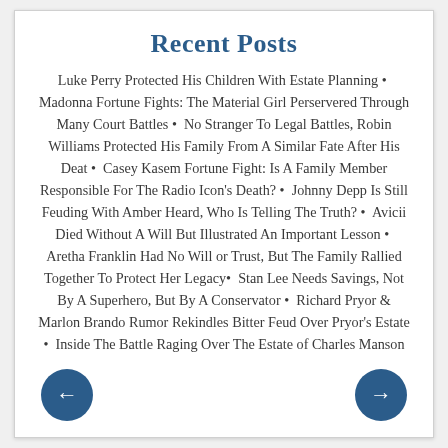Recent Posts
Luke Perry Protected His Children With Estate Planning • Madonna Fortune Fights: The Material Girl Perservered Through Many Court Battles • No Stranger To Legal Battles, Robin Williams Protected His Family From A Similar Fate After His Deat • Casey Kasem Fortune Fight: Is A Family Member Responsible For The Radio Icon's Death? • Johnny Depp Is Still Feuding With Amber Heard, Who Is Telling The Truth? • Avicii Died Without A Will But Illustrated An Important Lesson • Aretha Franklin Had No Will or Trust, But The Family Rallied Together To Protect Her Legacy • Stan Lee Needs Savings, Not By A Superhero, But By A Conservator • Richard Pryor & Marlon Brando Rumor Rekindles Bitter Feud Over Pryor's Estate • Inside The Battle Raging Over The Estate of Charles Manson